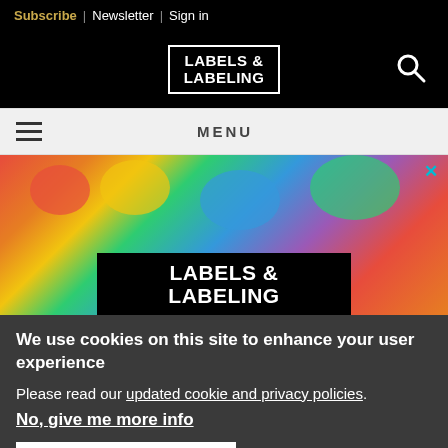Subscribe | Newsletter | Sign in
[Figure (logo): Labels & Labeling logo in white box on black background with search icon]
MENU
[Figure (photo): Labels & Labeling advertisement banner with colorful powder background and brand logo overlay]
We use cookies on this site to enhance your user experience
Please read our updated cookie and privacy policies.
No, give me more info
OK, I agree